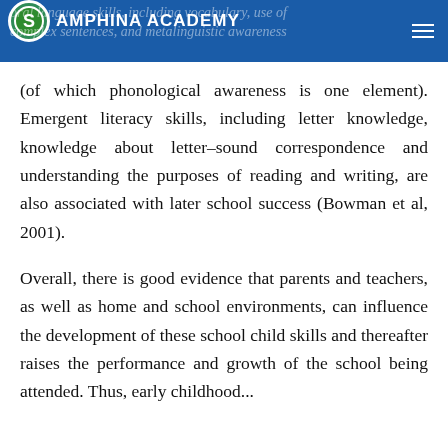oral language skills, including vocabulary, use of complex sentences, and metalinguistic awareness | AMPHINA ACADEMY
(of which phonological awareness is one element). Emergent literacy skills, including letter knowledge, knowledge about letter–sound correspondence and understanding the purposes of reading and writing, are also associated with later school success (Bowman et al, 2001).
Overall, there is good evidence that parents and teachers, as well as home and school environments, can influence the development of these school child skills and thereafter raises the performance and growth of the school being attended. Thus, early childhood...